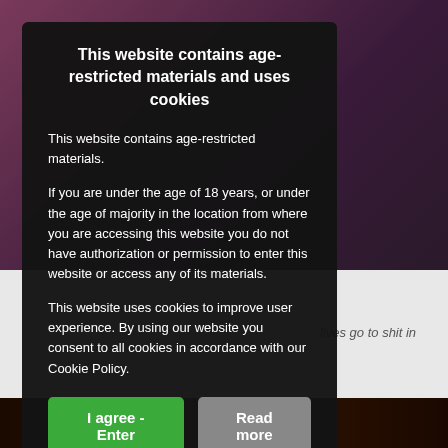[Figure (screenshot): Background showing blurred people/nightclub scene at top, gray area at bottom right with partial text 'lives go to shit in', and dark strip at very bottom]
This website contains age-restricted materials and uses cookies
This website contains age-restricted materials.
If you are under the age of 18 years, or under the age of majority in the location from where you are accessing this website you do not have authorization or permission to enter this website or access any of its materials.
This website uses cookies to improve user experience. By using our website you consent to all cookies in accordance with our Cookie Policy.
I agree - Enter
Read more
Free cookie consent by cookie-script.com